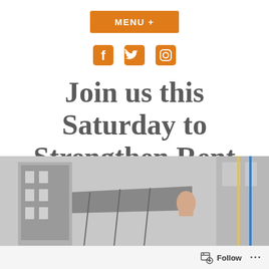MENU +
[Figure (illustration): Three social media icons in orange: Facebook (f), Twitter (bird), Instagram (camera)]
Join us this Saturday to Strengthen Rent Laws!
[Figure (photo): A protest scene with a person raising a fist in front of a building, taken from below]
Follow ...